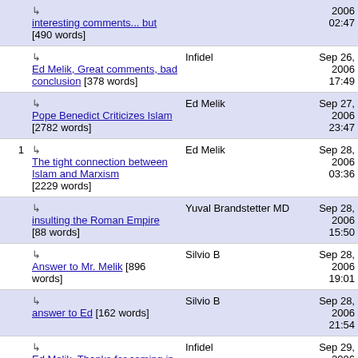interesting comments... but [490 words] — 2006 02:47
Ed Melik, Great comments, bad conclusion [378 words] — Infidel — Sep 26, 2006 17:49
Pope Benedict Criticizes Islam [2782 words] — Ed Melik — Sep 27, 2006 23:47
The tight connection between Islam and Marxism [2229 words] — Ed Melik — Sep 28, 2006 03:36
insulting the Roman Empire [88 words] — Yuval Brandstetter MD — Sep 28, 2006 15:50
Answer to Mr. Melik [896 words] — Silvio B — Sep 28, 2006 19:01
answer to Ed [162 words] — Silvio B — Sep 28, 2006 21:54
Ed Melik, Thanks for coming in from the dark [778 words] — Infidel — Sep 29, 2006 00:31
Ed Melik — Sep 30